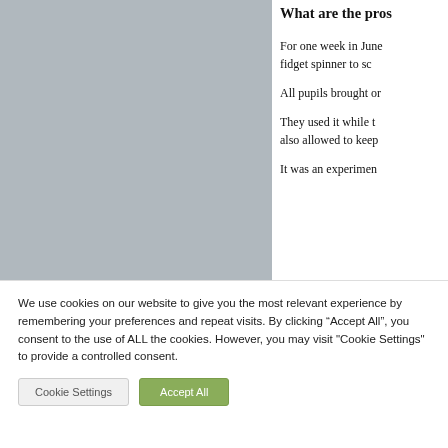[Figure (photo): Gray placeholder image block on the left side of the page]
What are the pros
For one week in June fidget spinner to sc
All pupils brought or
They used it while t also allowed to keep
It was an experimen
We use cookies on our website to give you the most relevant experience by remembering your preferences and repeat visits. By clicking “Accept All”, you consent to the use of ALL the cookies. However, you may visit "Cookie Settings" to provide a controlled consent.